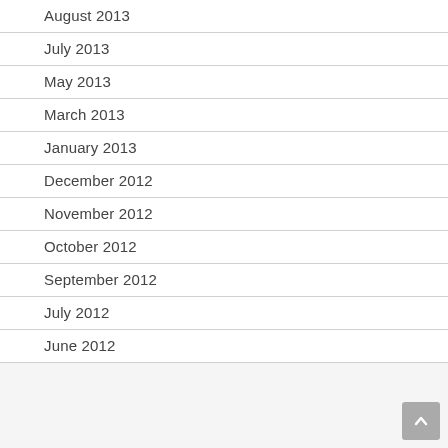August 2013
July 2013
May 2013
March 2013
January 2013
December 2012
November 2012
October 2012
September 2012
July 2012
June 2012